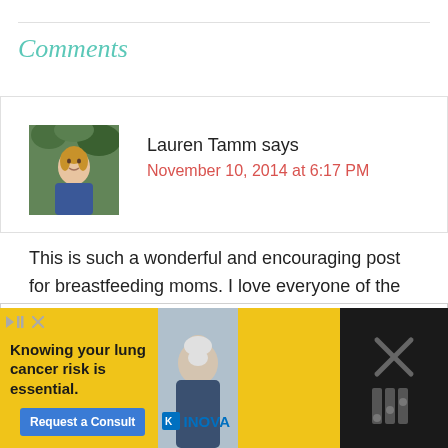Comments
Lauren Tamm says
November 10, 2014 at 6:17 PM
This is such a wonderful and encouraging post for breastfeeding moms. I love everyone of the tips. We introduced a bottle right around the 3 week mark and
I use cookies on this site to personalize content and ads, to provide social media features and to analyze traffic. I also share information about your use of our site with our social media, advertising, and analytics partners who may combine it with other information that you've provided to the that they've collected from your use of their services. Privacy & Cookie Policy
[Figure (photo): Advertisement banner: Knowing your lung cancer risk is essential. Request a Consult. INOVA.]